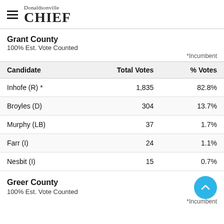Donaldsonville CHIEF
Grant County
100% Est. Vote Counted
*Incumbent
| Candidate | Total Votes | % Votes |
| --- | --- | --- |
| Inhofe (R) * | 1,835 | 82.8% |
| Broyles (D) | 304 | 13.7% |
| Murphy (LB) | 37 | 1.7% |
| Farr (I) | 24 | 1.1% |
| Nesbit (I) | 15 | 0.7% |
Greer County
100% Est. Vote Counted
*Incumbent